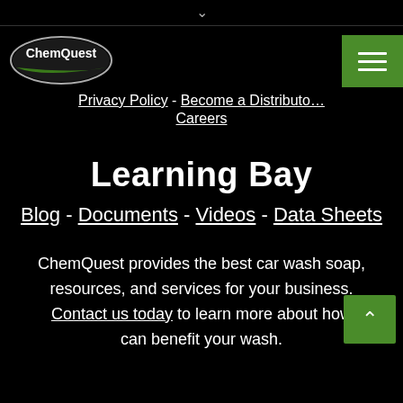∨
[Figure (logo): ChemQuest oval logo with green swoosh]
Privacy Policy - Become a Distributor
Careers
Learning Bay
Blog - Documents - Videos - Data Sheets
ChemQuest provides the best car wash soap, resources, and services for your business. Contact us today to learn more about how can benefit your wash.